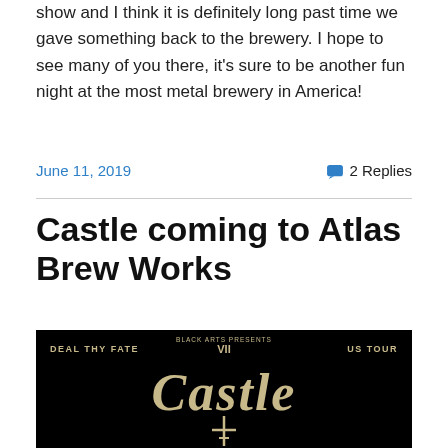show and I think it is definitely long past time we gave something back to the brewery. I hope to see many of you there, it's sure to be another fun night at the most metal brewery in America!
June 11, 2019
2 Replies
Castle coming to Atlas Brew Works
[Figure (photo): Black promotional poster for Castle US Tour featuring ornate gothic lettering spelling CASTLE with a cross symbol, with text reading DEAL THY FATE on the left, BLACK ARTS PRESENTS VII in the center top, and US TOUR on the right]